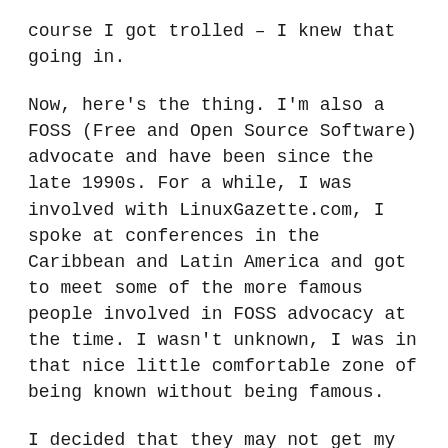course I got trolled – I knew that going in.
Now, here's the thing. I'm also a FOSS (Free and Open Source Software) advocate and have been since the late 1990s. For a while, I was involved with LinuxGazette.com, I spoke at conferences in the Caribbean and Latin America and got to meet some of the more famous people involved in FOSS advocacy at the time. I wasn't unknown, I was in that nice little comfortable zone of being known without being famous.
I decided that they may not get my message and went to the Fossbytes.com website, checked the Fossbytes.com about page and... Indian. Which got me thinking something about the very first interaction with India I had since the Ukrainian